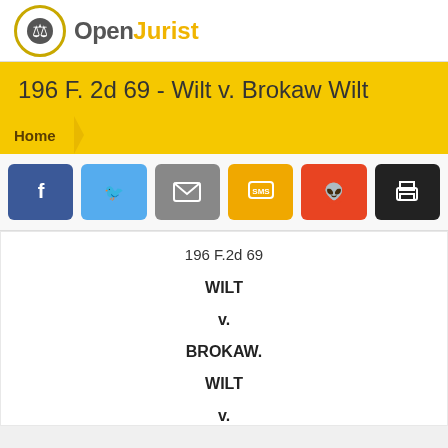OpenJurist
196 F. 2d 69 - Wilt v. Brokaw Wilt
Home
[Figure (infographic): Social share buttons: Facebook, Twitter, Email, SMS, Reddit, Print]
196 F.2d 69
WILT
v.
BROKAW.
WILT
v.